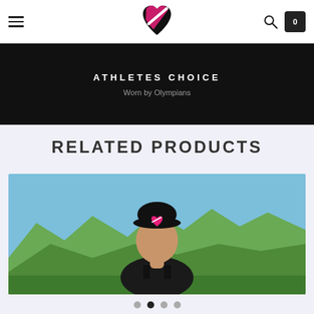Athletes Choice — Worn by Olympians
ATHLETES CHOICE
Worn by Olympians
RELATED PRODUCTS
[Figure (photo): Back view of a person wearing a black cap with pink heart logo and a black tank top, outdoors with blue sky and green mountains in the background.]